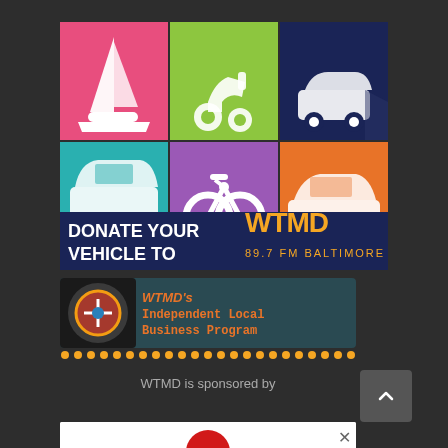[Figure (infographic): DONATE YOUR VEHICLE TO WTMD 89.7 FM BALTIMORE promotional banner with 6 vehicle icons (sailboat, scooter, compact car, SUV, bicycle, sedan) on colored tiles (pink, green, navy, teal, purple, orange), followed by WTMD logo and text.]
[Figure (infographic): WTMD's Independent Local Business Program banner with radio speaker icon and WTMD logo on dark teal background with orange dotted border.]
WTMD is sponsored by
[Figure (photo): Partially visible advertisement with white background and red circular element at bottom.]